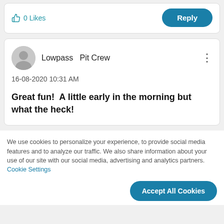[Figure (screenshot): Partial comment card showing thumbs up '0 Likes' and a teal 'Reply' button]
Lowpass  Pit Crew
16-08-2020 10:31 AM
Great fun!  A little early in the morning but what the heck!
We use cookies to personalize your experience, to provide social media features and to analyze our traffic. We also share information about your use of our site with our social media, advertising and analytics partners. Cookie Settings
Accept All Cookies